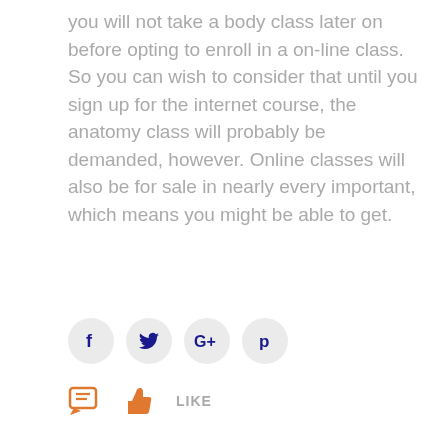you will not take a body class later on before opting to enroll in a on-line class. So you can wish to consider that until you sign up for the internet course, the anatomy class will probably be demanded, however. Online classes will also be for sale in nearly every important, which means you might be able to get.
[Figure (infographic): Social media sharing icons: Facebook (f), Twitter (bird), Google+ (G+), Pinterest (p) — each in a light grey circle]
[Figure (infographic): Comment icon (orange speech bubble with lines) and thumbs-up like icon (orange) with 'LIKE' text in grey]